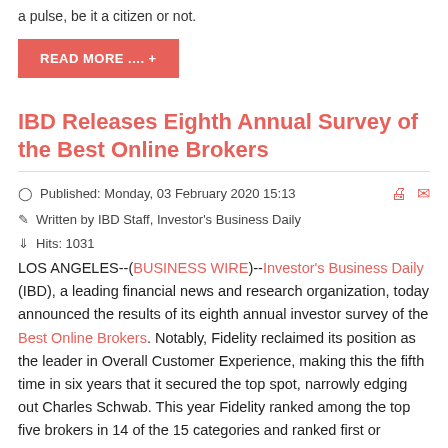a pulse, be it a citizen or not.
READ MORE .... +
IBD Releases Eighth Annual Survey of the Best Online Brokers
Published: Monday, 03 February 2020 15:13
Written by IBD Staff, Investor's Business Daily
Hits: 1031
LOS ANGELES--(BUSINESS WIRE)--Investor's Business Daily (IBD), a leading financial news and research organization, today announced the results of its eighth annual investor survey of the Best Online Brokers. Notably, Fidelity reclaimed its position as the leader in Overall Customer Experience, making this the fifth time in six years that it secured the top spot, narrowly edging out Charles Schwab. This year Fidelity ranked among the top five brokers in 14 of the 15 categories and ranked first or second in 11 categories while Charles Schwab